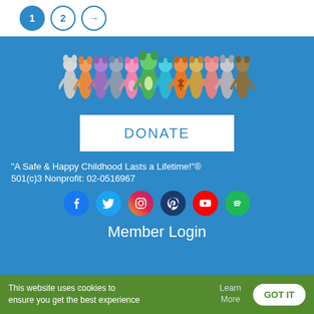Pagination: 1 (active), 2, →
[Figure (illustration): Row of colorful animal mascots in costumes holding hands, on blue background]
DONATE
"A Safe & Happy Childhood Lasts a Lifetime!"®
501(c)3 Nonprofit: 02-0516967
[Figure (illustration): Social media icons: Facebook (blue), Twitter (light blue), Instagram (pink/red), Pinterest (dark blue), YouTube (red), Spotify (green)]
Member Login
This website uses cookies to ensure you get the best experience  Learn More  GOT IT